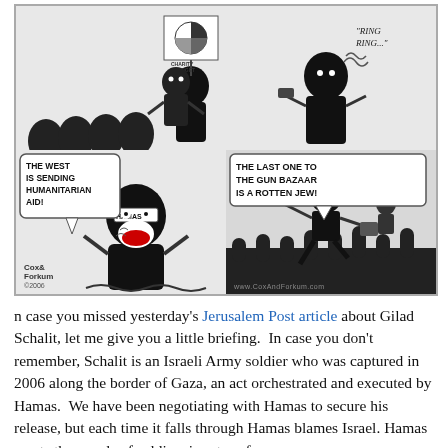[Figure (illustration): A four-panel editorial cartoon by Cox & Forkum (2006) depicting Hamas figures. Top-left: masked figures around a pie chart labeled 'CHARITY BUDGET'. Top-right: masked figure with phone with 'RING RING' text. Bottom-left: Hamas-labeled figure exclaiming 'THE WEST IS SENDING HUMANITARIAN AID!'. Bottom-right: masked figure with weapons saying 'THE LAST ONE TO THE GUN BAZAAR IS A ROTTEN JEW!' Watermark: www.CoxAndForkum.com]
n case you missed yesterday's Jerusalem Post article about Gilad Schalit, let me give you a little briefing.  In case you don't remember, Schalit is an Israeli Army soldier who was captured in 2006 along the border of Gaza, an act orchestrated and executed by Hamas.  We have been negotiating with Hamas to secure his release, but each time it falls through Hamas blames Israel. Hamas wants thousands of soldiers in return for our one man.
According to Abu Katab Doghmush, an Army of Islam affiliate